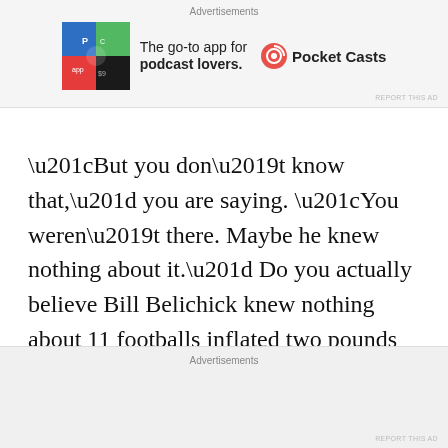[Figure (screenshot): Advertisement banner for Pocket Casts app showing colorful app icon and tagline 'The go-to app for podcast lovers.']
“But you don’t know that,” you are saying. “You weren’t there. Maybe he knew nothing about it.” Do you actually believe Bill Belichick knew nothing about 11 footballs inflated two pounds less than required? Come on. You have to give him more credit than that.
So now fans must either turn a blind eye or, as
[Figure (screenshot): Second advertisement banner placeholder area at bottom of page]